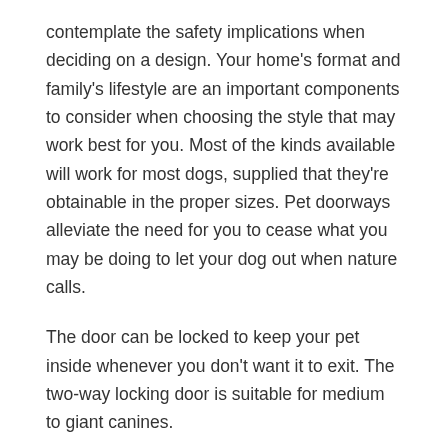contemplate the safety implications when deciding on a design. Your home's format and family's lifestyle are an important components to consider when choosing the style that may work best for you. Most of the kinds available will work for most dogs, supplied that they're obtainable in the proper sizes. Pet doorways alleviate the need for you to cease what you may be doing to let your dog out when nature calls.
The door can be locked to keep your pet inside whenever you don't want it to exit. The two-way locking door is suitable for medium to giant canines.
Pet doorways are used to provide one other exit or entry point specifically for your pet. It's essential to ensure that these pet doors are safe to make use of and of a snug measurement. If you're seeking to cut back your power invoice, then it's time to go for an energy-efficient dog door. Insulated all-weather canine doorways enable for power efficiency and durability through the